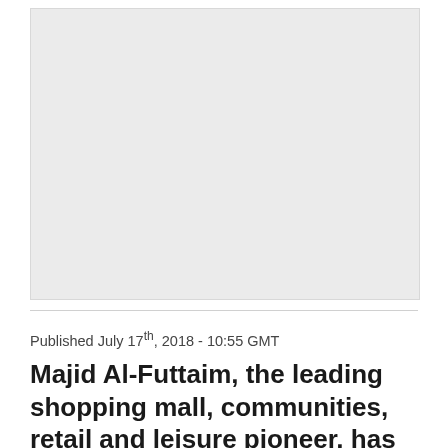[Figure (photo): Large image placeholder with light grey background]
Published July 17th, 2018 - 10:55 GMT
Majid Al-Futtaim, the leading shopping mall, communities, retail and leisure pioneer, has announced it will open the first multi-experiential-leisure...